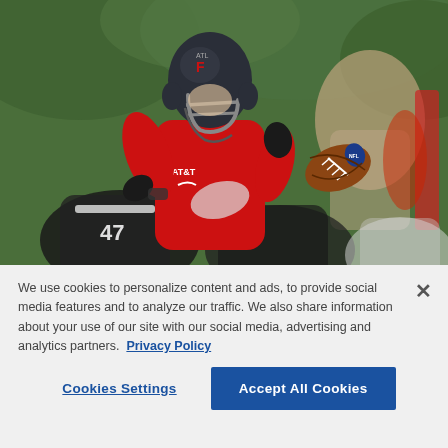[Figure (photo): Atlanta Falcons quarterback in red jersey and dark helmet throwing a football during practice. An NFL football is visible mid-air to the right. Other players in white/black uniforms are in the foreground and background, with green trees behind.]
We use cookies to personalize content and ads, to provide social media features and to analyze our traffic. We also share information about your use of our site with our social media, advertising and analytics partners. Privacy Policy
Cookies Settings
Accept All Cookies